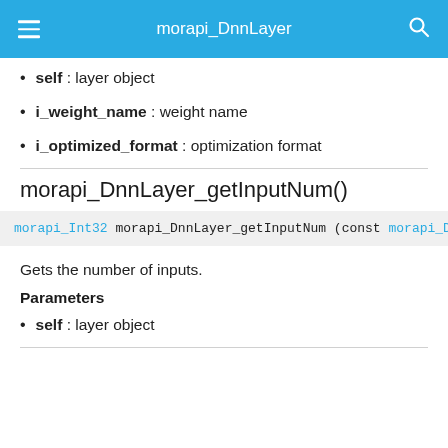morapi_DnnLayer
self : layer object
i_weight_name : weight name
i_optimized_format : optimization format
morapi_DnnLayer_getInputNum()
morapi_Int32 morapi_DnnLayer_getInputNum (const morapi_DnnLayer
Gets the number of inputs.
Parameters
self : layer object